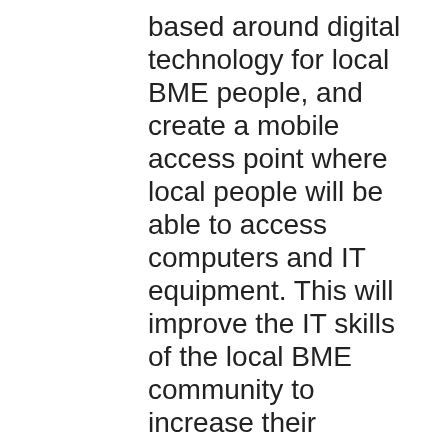based around digital technology for local BME people, and create a mobile access point where local people will be able to access computers and IT equipment. This will improve the IT skills of the local BME community to increase their